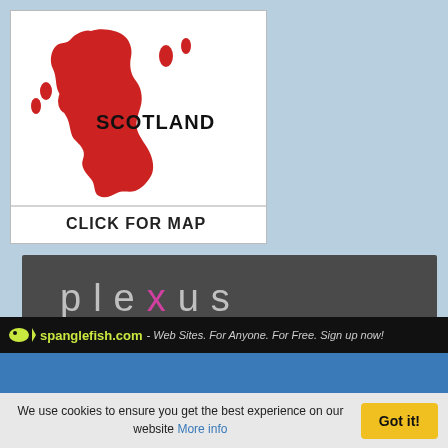[Figure (map): Map of Scotland in red on white background with text SCOTLAND and CLICK FOR MAP]
[Figure (logo): Plexus web design logo on dark grey background with pink X letter, subtitle Web Design Inverness]
[Figure (infographic): Advertisement for Kynix Semiconductor showing integrated circuit chip with text Over 1000+ Integrated circuit chip products are in stock and available now. Kynix Semiconductor - Check Part Availability & Inventory from Kynix]
spanglefish.com - Web Sites. For Anyone. For Free. Sign up now!
We use cookies to ensure you get the best experience on our website More info